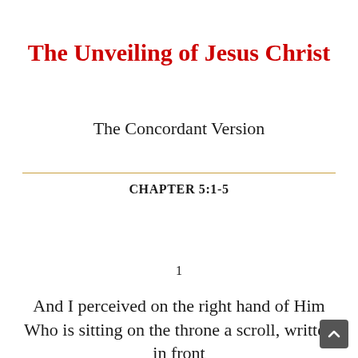The Unveiling of Jesus Christ
The Concordant Version
CHAPTER 5:1-5
1
And I perceived on the right hand of Him Who is sitting on the throne a scroll, written in front and behind, having been sealed with seven seals.